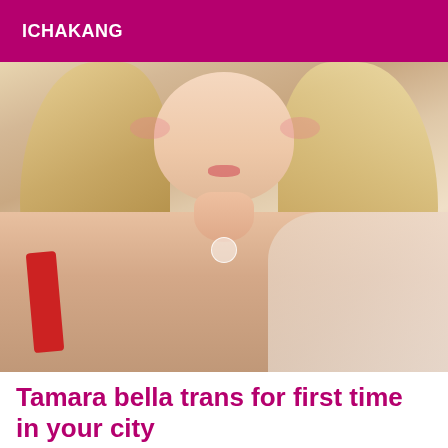ICHAKANG
[Figure (photo): A blonde person with long wavy hair, wearing a red strap top, photographed from above in a selfie-style shot against a light background.]
Tamara bella trans for first time in your city
Shemale independent escort Yucaipa